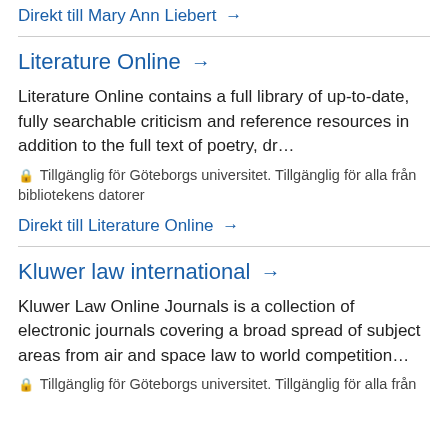Direkt till Mary Ann Liebert →
Literature Online →
Literature Online contains a full library of up-to-date, fully searchable criticism and reference resources in addition to the full text of poetry, dr…
🔒 Tillgänglig för Göteborgs universitet. Tillgänglig för alla från bibliotekens datorer
Direkt till Literature Online →
Kluwer law international →
Kluwer Law Online Journals is a collection of electronic journals covering a broad spread of subject areas from air and space law to world competition…
🔒 Tillgänglig för Göteborgs universitet. Tillgänglig för alla från